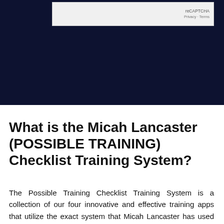[Figure (screenshot): reCAPTCHA widget box with 'reCAPTCHA' branding and 'Privacy · Terms' text on a dark navy blue background]
What is the Micah Lancaster (POSSIBLE TRAINING) Checklist Training System?
The Possible Training Checklist Training System is a collection of our four innovative and effective training apps that utilize the exact system that Micah Lancaster has used and proven successful for young players to NBA All-Stars. Players who enroll in the entire